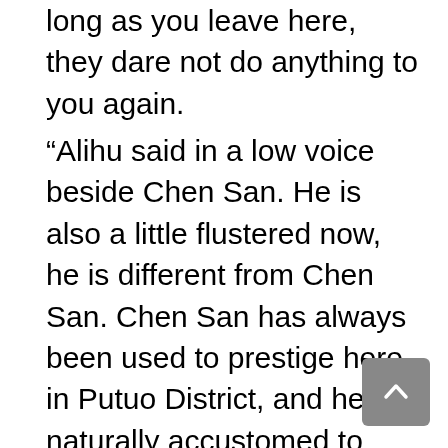long as you leave here, they dare not do anything to you again.
“Alihu said in a low voice beside Chen San. He is also a little flustered now, he is different from Chen San. Chen San has always been used to prestige here in Putuo District, and he is naturally accustomed to being high above others. Sensitive. But Ali is different. He doesn’t have any great skills himself, but he is better at being careful. At this moment, Ali clearly feels that the atmosphere between the two sides is a little bit wrong. First of all, the other side is domineering, as if opening up. The sharp blade is average, and it is possible to slash directly at them at any time. However, the people on Chen San’s side, although the slogans were shouted loudly just now, Ali did not feel any fighting intention from them. On the